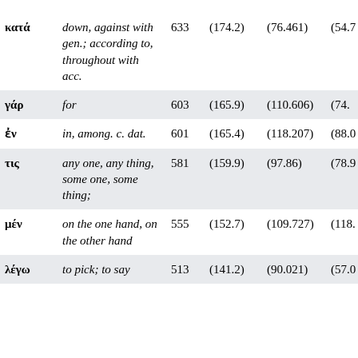| Word | Gloss | Count | Col3 | Col4 | Col5 |
| --- | --- | --- | --- | --- | --- |
| κατά | down, against with gen.; according to, throughout with acc. | 633 | (174.2) | (76.461) | (54.7… |
| γάρ | for | 603 | (165.9) | (110.606) | (74.… |
| ἐν | in, among. c. dat. | 601 | (165.4) | (118.207) | (88.0… |
| τις | any one, any thing, some one, some thing; | 581 | (159.9) | (97.86) | (78.9… |
| μέν | on the one hand, on the other hand | 555 | (152.7) | (109.727) | (118.… |
| λέγω | to pick; to say | 513 | (141.2) | (90.021) | (57.0… |